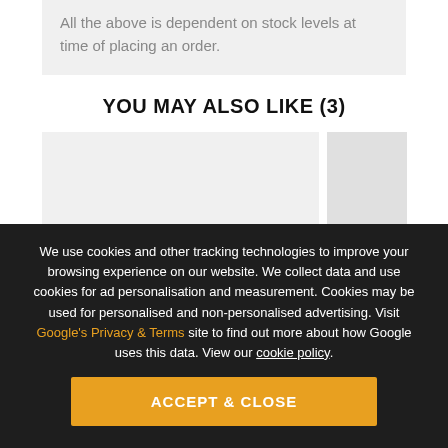All the above is dependent on stock levels at time of placing an order.
YOU MAY ALSO LIKE (3)
[Figure (other): Two product card placeholders shown side by side — a large grey card on the left and a smaller grey card on the right]
We use cookies and other tracking technologies to improve your browsing experience on our website. We collect data and use cookies for ad personalisation and measurement. Cookies may be used for personalised and non-personalised advertising. Visit Google's Privacy & Terms site to find out more about how Google uses this data. View our cookie policy.
ACCEPT & CLOSE